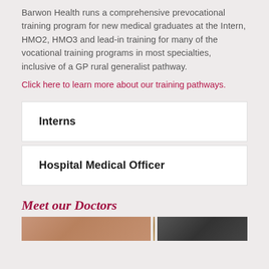Barwon Health runs a comprehensive prevocational training program for new medical graduates at the Intern, HMO2, HMO3 and lead-in training for many of the vocational training programs in most specialties, inclusive of a GP rural generalist pathway.
Click here to learn more about our training pathways.
Interns
Hospital Medical Officer
Meet our Doctors
[Figure (photo): Three cropped photo thumbnails of doctors in a horizontal strip]